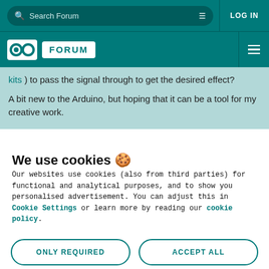Search Forum | LOG IN
[Figure (logo): Arduino Forum logo with infinity symbol and FORUM text on teal background]
kits ) to pass the signal through to get the desired effect?

A bit new to the Arduino, but hoping that it can be a tool for my creative work.
We use cookies 🍪
Our websites use cookies (also from third parties) for functional and analytical purposes, and to show you personalised advertisement. You can adjust this in Cookie Settings or learn more by reading our cookie policy.
ONLY REQUIRED | ACCEPT ALL